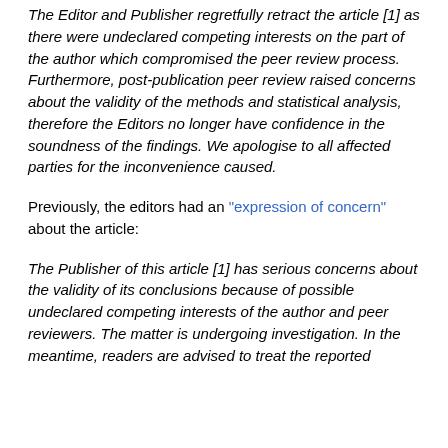The Editor and Publisher regretfully retract the article [1] as there were undeclared competing interests on the part of the author which compromised the peer review process. Furthermore, post-publication peer review raised concerns about the validity of the methods and statistical analysis, therefore the Editors no longer have confidence in the soundness of the findings. We apologise to all affected parties for the inconvenience caused.
Previously, the editors had an "expression of concern" about the article:
The Publisher of this article [1] has serious concerns about the validity of its conclusions because of possible undeclared competing interests of the author and peer reviewers. The matter is undergoing investigation. In the meantime, readers are advised to treat the reported conclusions of this article with caution.